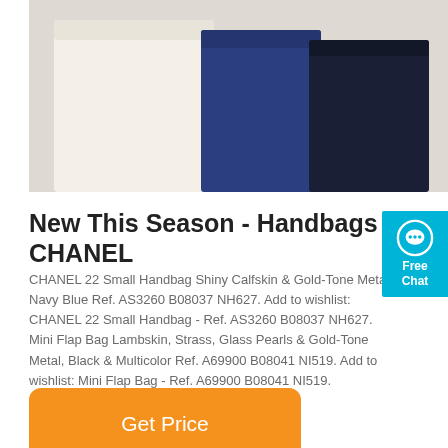[Figure (photo): Product photo showing three Chanel handbags: cream/off-white on left, navy blue in center, dark navy/black on right, displayed against light gray background]
New This Season - Handbags | CHANEL
CHANEL 22 Small Handbag Shiny Calfskin & Gold-Tone Metal, Navy Blue Ref. AS3260 B08037 NH627. Add to wishlist: CHANEL 22 Small Handbag - Ref. AS3260 B08037 NH627. Mini Flap Bag Lambskin, Strass, Glass Pearls & Gold-Tone Metal, Black & Multicolor Ref. A69900 B08041 NI519. Add to wishlist: Mini Flap Bag - Ref. A69900 B08041 NI519.
[Figure (screenshot): Orange 'Get Price' button]
[Figure (photo): Bottom portion of another product image, light gray background]